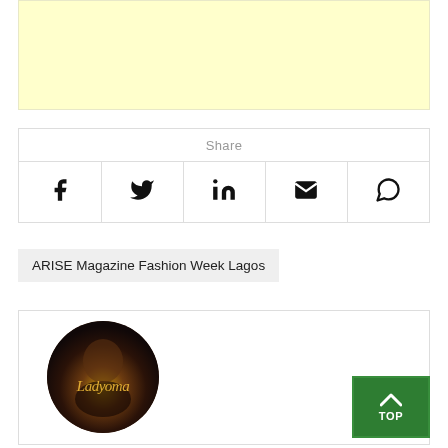[Figure (other): Light yellow advertisement banner area]
| Share |
| --- |
| Facebook icon | Twitter icon | LinkedIn icon | Email icon | WhatsApp icon |
ARISE Magazine Fashion Week Lagos
[Figure (photo): Circular author profile photo showing a woman with dark hair and dramatic makeup, overlaid with script text 'Ladyoma' in gold]
TOP